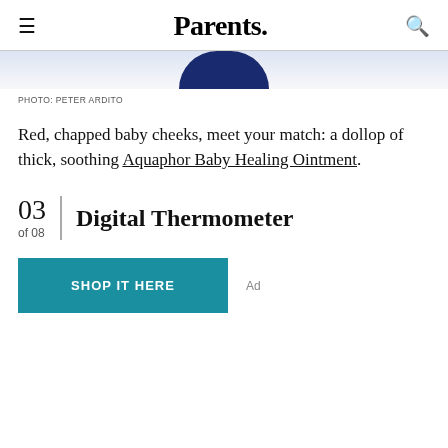≡  Parents.  🔍
[Figure (photo): Partial view of a dark navy blue circular product (Aquaphor Baby Healing Ointment container) against a white background, cropped at top.]
PHOTO: PETER ARDITO
Red, chapped baby cheeks, meet your match: a dollop of thick, soothing Aquaphor Baby Healing Ointment.
03 | Digital Thermometer
of 08
SHOP IT HERE
Ad